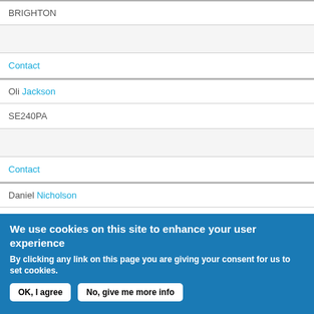BRIGHTON
Contact
Oli Jackson
SE240PA
Contact
Daniel Nicholson
CARDIFF
We use cookies on this site to enhance your user experience
By clicking any link on this page you are giving your consent for us to set cookies.
OK, I agree | No, give me more info